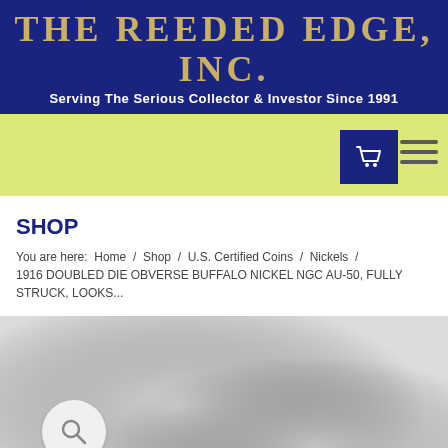THE REEDED EDGE, INC. — Serving The Serious Collector & Investor Since 1991
SHOP
You are here:  Home  /  Shop  /  U.S. Certified Coins  /  Nickels  /  1916 DOUBLED DIE OBVERSE BUFFALO NICKEL NGC AU-50, FULLY STRUCK, LOOKS...
[Figure (photo): Coin product image placeholder with search/zoom magnifier icon overlay on light gray textured background]